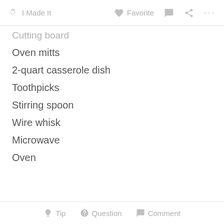I Made It   Favorite   Comment   Share   More
Cutting board
Oven mitts
2-quart casserole dish
Toothpicks
Stirring spoon
Wire whisk
Microwave
Oven
Tip   Question   Comment